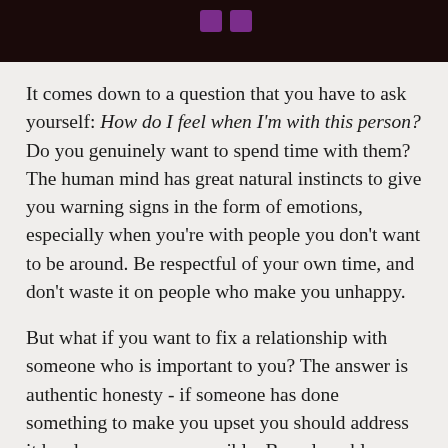[Figure (photo): Dark banner image with two small purple/violet square dots visible against a very dark red-black background]
It comes down to a question that you have to ask yourself: How do I feel when I'm with this person? Do you genuinely want to spend time with them? The human mind has great natural instincts to give you warning signs in the form of emotions, especially when you're with people you don't want to be around. Be respectful of your own time, and don't waste it on people who make you unhappy.
But what if you want to fix a relationship with someone who is important to you? The answer is authentic honesty - if someone has done something to make you upset you should address it head on as soon as possible. Be vulnerable about how you feel;